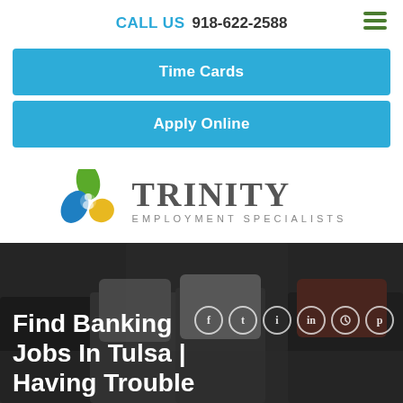CALL US  918-622-2588
Time Cards
Apply Online
[Figure (logo): Trinity Employment Specialists logo with colorful leaf/swirl icon and bold TRINITY text]
Find Banking Jobs In Tulsa | Having Trouble